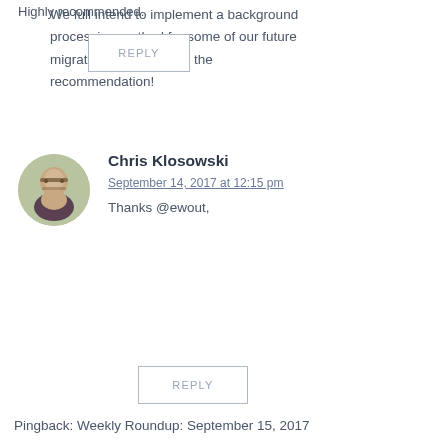Highly recommended.
REPLY
Chris Klosowski
September 14, 2017 at 12:15 pm
Thanks @ewout,
We full intend to implement a background processing method for some of our future migrations. I appreciate the recommendation!
REPLY
Pingback: Weekly Roundup: September 15, 2017